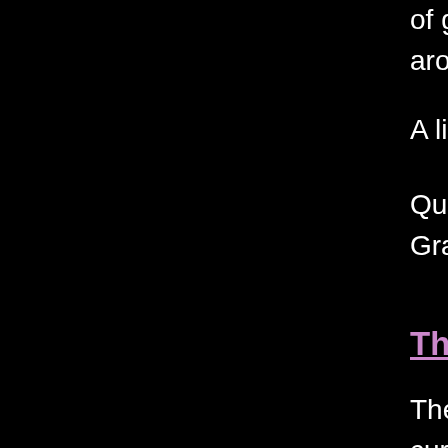of guided meditations & exercises. Am around your house or at a local thrift s
A list of textbooks required for each Le
Qualifying graduates of Level III may a Graduates of Level IV are eligible to re
The Sacred Three Godd
The Sacred Three Goddess School of curriculum exploring the Feminine Div designed and written by Rev. Luna Bla founder of the White Moon School and Moon, an international eclectic Order o Goddess. The school is headed by Re was a Charter Member of the White M elevated to High Priestess in 2000, wh Luna Blanca, and who now serves on the Ordination Council of the Order of Goddess and to walk with Goddess du tremendously empowering for women, pleasure, honor and integrity. We are e